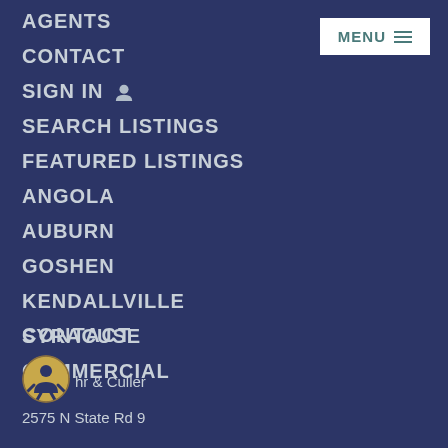AGENTS
CONTACT
SIGN IN
SEARCH LISTINGS
FEATURED LISTINGS
ANGOLA
AUBURN
GOSHEN
KENDALLVILLE
SYRACUSE
COMMERCIAL
CONTACT
hr & Culler
2575 N State Rd 9